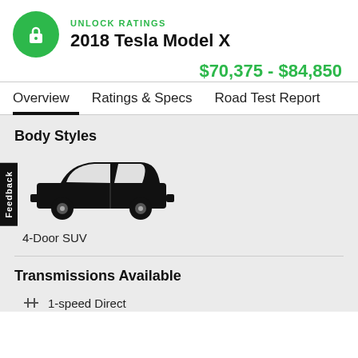UNLOCK RATINGS
2018 Tesla Model X
$70,375 - $84,850
Overview | Ratings & Specs | Road Test Report
Body Styles
[Figure (illustration): Side-view icon of a 4-door SUV in black silhouette style]
4-Door SUV
Transmissions Available
1-speed Direct